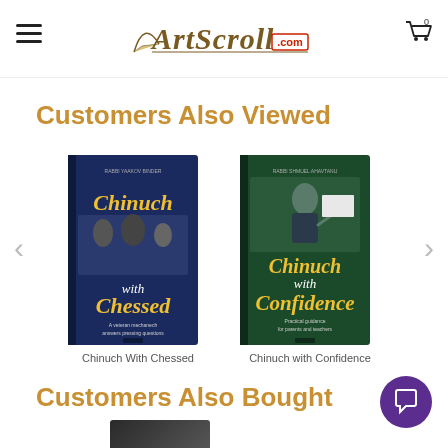ArtScroll.com
Customers Also Viewed
[Figure (photo): Book cover: Chinuch With Chessed by Rabbi Yaakov Binder, dark blue cover]
Chinuch With Chessed
[Figure (photo): Book cover: Chinuch with Confidence by Rabbi Shmuel Ahavtanu, dark green cover]
Chinuch with Confidence
Customers Also Bought